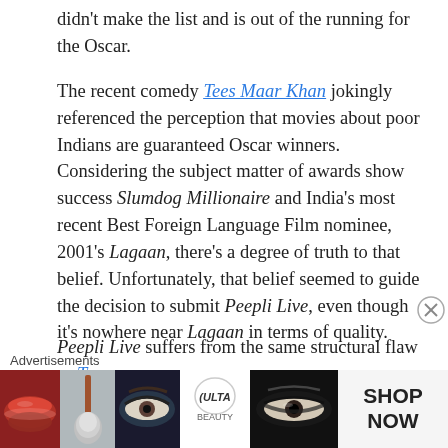didn't make the list and is out of the running for the Oscar.
The recent comedy Tees Maar Khan jokingly referenced the perception that movies about poor Indians are guaranteed Oscar winners. Considering the subject matter of awards show success Slumdog Millionaire and India's most recent Best Foreign Language Film nominee, 2001's Lagaan, there's a degree of truth to that belief. Unfortunately, that belief seemed to guide the decision to submit Peepli Live, even though it's nowhere near Lagaan in terms of quality.
Peepli Live suffers from the same structural flaw as Taare Zameen Par, the Film Federation of India's unsuccessful submission to the 81st Academy Awards. Both movies — creations of Aamir Khan Productions — feature a main
Advertisements
[Figure (photo): Advertisements banner showing cosmetics-related images including lips with red lipstick, a makeup brush, a close-up eye with dramatic makeup, the ULTA beauty logo, another close-up eye, and a SHOP NOW call-to-action panel.]